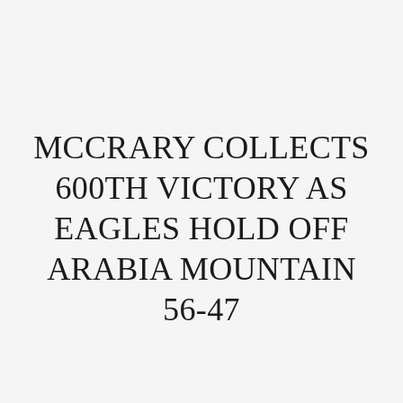MCCRARY COLLECTS 600TH VICTORY AS EAGLES HOLD OFF ARABIA MOUNTAIN 56-47